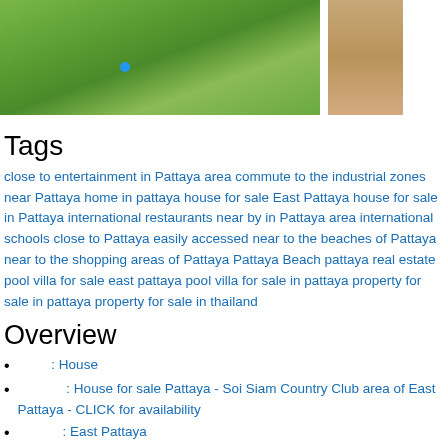[Figure (photo): Aerial view of a property with green lawn and tropical plants; a blue dot marker visible. Partial view of a wooden/tan surface on the right side.]
Tags
close to entertainment in Pattaya area commute to the industrial zones near Pattaya home in pattaya house for sale East Pattaya house for sale in Pattaya international restaurants near by in Pattaya area international schools close to Pattaya easily accessed near to the beaches of Pattaya near to the shopping areas of Pattaya Pattaya Beach pattaya real estate pool villa for sale east pattaya pool villa for sale in pattaya property for sale in pattaya property for sale in thailand
Overview
: House
: House for sale Pattaya - Soi Siam Country Club area of East Pattaya - CLICK for availability
: East Pattaya
180 Sqm
992 Sqm
1